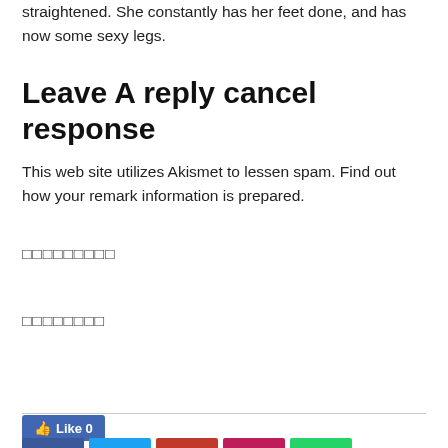straightened. She constantly has her feet done, and has now some sexy legs.
Leave A reply cancel response
This web site utilizes Akismet to lessen spam. Find out how your remark information is prepared.
□□□□□□□□□
□□□□□□□□
[Figure (other): Facebook Like button showing Like 0]
[Figure (other): Row of social media share buttons: Facebook, Twitter, Reddit, Pinterest, WhatsApp]